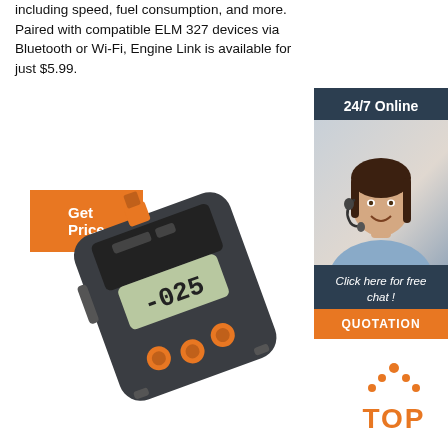including speed, fuel consumption, and more. Paired with compatible ELM 327 devices via Bluetooth or Wi-Fi, Engine Link is available for just $5.99.
[Figure (other): Orange 'Get Price' button]
[Figure (other): 24/7 Online chat sidebar with agent photo, 'Click here for free chat!' text, and orange QUOTATION button]
[Figure (photo): Dark gray OBD2 diagnostic device with orange accents, LCD display showing -025, and orange buttons]
[Figure (other): Orange and dark 'TOP' badge with triangle dots]